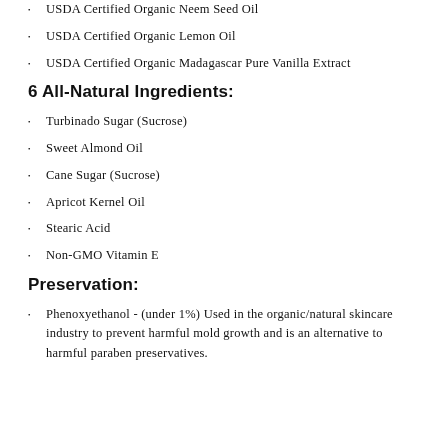USDA Certified Organic Neem Seed Oil
USDA Certified Organic Lemon Oil
USDA Certified Organic Madagascar Pure Vanilla Extract
6 All-Natural Ingredients:
Turbinado Sugar (Sucrose)
Sweet Almond Oil
Cane Sugar (Sucrose)
Apricot Kernel Oil
Stearic Acid
Non-GMO Vitamin E
Preservation:
Phenoxyethanol - (under 1%) Used in the organic/natural skincare industry to prevent harmful mold growth and is an alternative to harmful paraben preservatives.